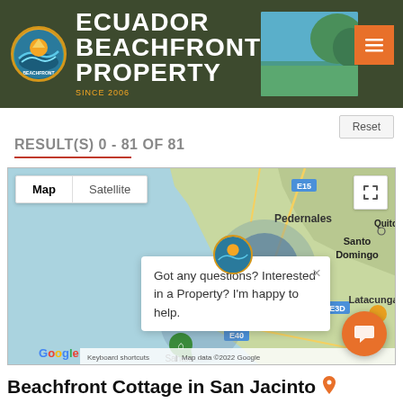[Figure (screenshot): Ecuador Beachfront Property website header with logo, company name, scenic photo, and hamburger menu button]
RESULT(S) 0 - 81 OF 81
[Figure (map): Google Map showing Ecuador coast with clustered property markers. Cluster of 62 properties visible near Manta area. Map/Satellite toggle, fullscreen button, Google branding, and keyboard shortcuts visible. Chat popup overlay reading: Got any questions? Interested in a Property? I'm happy to help.]
Beachfront Cottage in San Jacinto